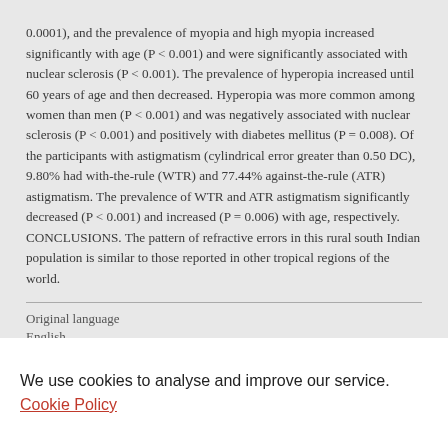0.0001), and the prevalence of myopia and high myopia increased significantly with age (P < 0.001) and were significantly associated with nuclear sclerosis (P < 0.001). The prevalence of hyperopia increased until 60 years of age and then decreased. Hyperopia was more common among women than men (P < 0.001) and was negatively associated with nuclear sclerosis (P < 0.001) and positively with diabetes mellitus (P = 0.008). Of the participants with astigmatism (cylindrical error greater than 0.50 DC), 9.80% had with-the-rule (WTR) and 77.44% against-the-rule (ATR) astigmatism. The prevalence of WTR and ATR astigmatism significantly decreased (P < 0.001) and increased (P = 0.006) with age, respectively. CONCLUSIONS. The pattern of refractive errors in this rural south Indian population is similar to those reported in other tropical regions of the world.
Original language
English
We use cookies to analyse and improve our service. Cookie Policy